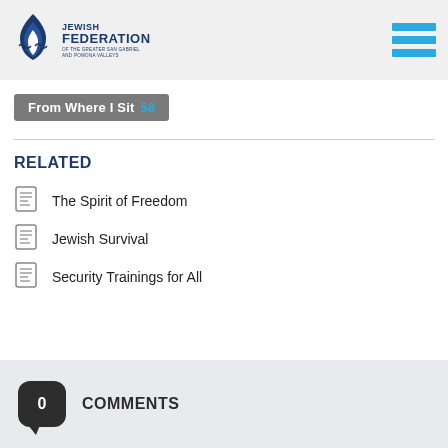[Figure (logo): Jewish Federation of the Greater San Gabriel and Pomona Valleys logo with flame icon and hamburger menu icon]
From Where I Sit 58
RELATED
The Spirit of Freedom
Jewish Survival
Security Trainings for All
0 COMMENTS